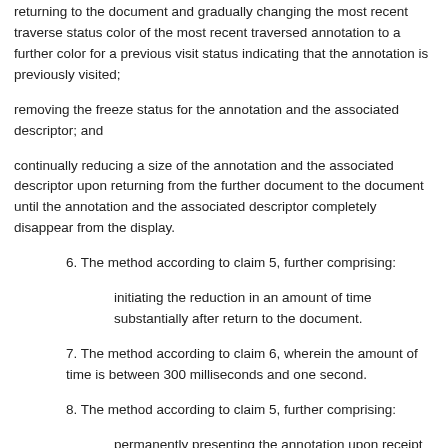returning to the document and gradually changing the most recent traverse status color of the most recent traversed annotation to a further color for a previous visit status indicating that the annotation is previously visited;
removing the freeze status for the annotation and the associated descriptor; and
continually reducing a size of the annotation and the associated descriptor upon returning from the further document to the document until the annotation and the associated descriptor completely disappear from the display.
6. The method according to claim 5, further comprising:
initiating the reduction in an amount of time substantially after return to the document.
7. The method according to claim 6, wherein the amount of time is between 300 milliseconds and one second.
8. The method according to claim 5, further comprising:
permanently presenting the annotation upon receipt of a selection from the user for the annotation.